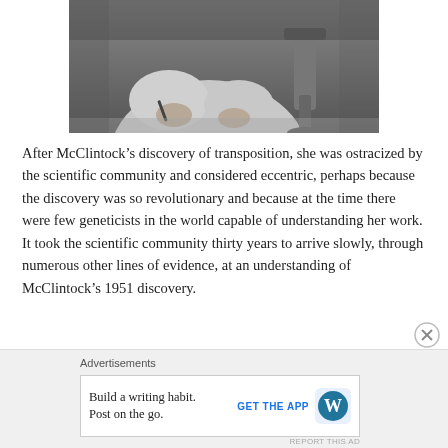[Figure (photo): Black and white photograph of a scientist (Barbara McClintock) working at a desk with a microscope, viewed from above/side angle, hands visible manipulating specimens.]
After McClintock’s discovery of transposition, she was ostracized by the scientific community and considered eccentric, perhaps because the discovery was so revolutionary and because at the time there were few geneticists in the world capable of understanding her work. It took the scientific community thirty years to arrive slowly, through numerous other lines of evidence, at an understanding of McClintock’s 1951 discovery.
Advertisements
Build a writing habit. Post on the go.
GET THE APP